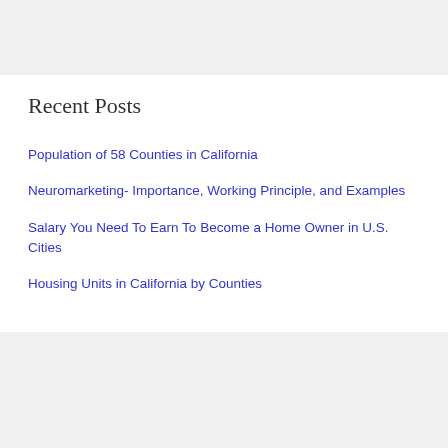Recent Posts
Population of 58 Counties in California
Neuromarketing- Importance, Working Principle, and Examples
Salary You Need To Earn To Become a Home Owner in U.S. Cities
Housing Units in California by Counties